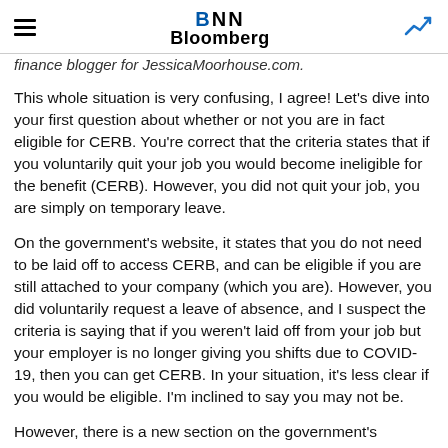BNN Bloomberg
finance blogger for JessicaMoorhouse.com.
This whole situation is very confusing, I agree! Let's dive into your first question about whether or not you are in fact eligible for CERB. You're correct that the criteria states that if you voluntarily quit your job you would become ineligible for the benefit (CERB). However, you did not quit your job, you are simply on temporary leave.
On the government's website, it states that you do not need to be laid off to access CERB, and can be eligible if you are still attached to your company (which you are). However, you did voluntarily request a leave of absence, and I suspect the criteria is saying that if you weren't laid off from your job but your employer is no longer giving you shifts due to COVID-19, then you can get CERB. In your situation, it's less clear if you would be eligible. I'm inclined to say you may not be.
However, there is a new section on the government's question and answers page that does address your situation of feeling uncomfortable continuing to work because you